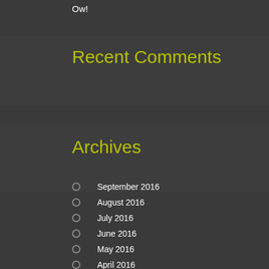Ow!
Recent Comments
Archives
September 2016
August 2016
July 2016
June 2016
May 2016
April 2016
March 2016
February 2016
December 2015
October 2015